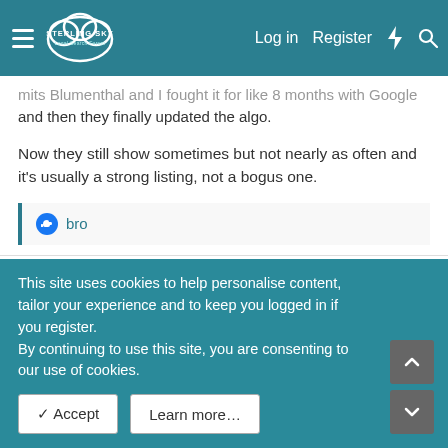STERLING SKY Local Search Forum — Log in | Register
mits Blumenthal and I fought it for like 8 months with Google and then they finally updated the algo.
Now they still show sometimes but not nearly as often and it's usually a strong listing, not a bogus one.
👍 bro
bro
Nov 30, 2015   #3
This site uses cookies to help personalise content, tailor your experience and to keep you logged in if you register.
By continuing to use this site, you are consenting to our use of cookies.
✓ Accept   Learn more…